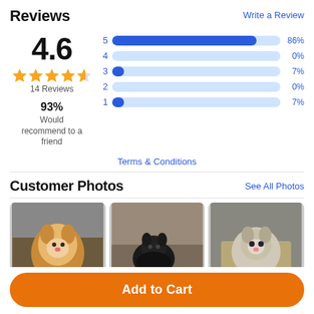Reviews
Write a Review
4.6
14 Reviews
93%
Would recommend to a friend
[Figure (bar-chart): Rating distribution]
Terms & Conditions
Customer Photos
See All Photos
[Figure (photo): Three customer photos of cats using the product]
Add to Cart